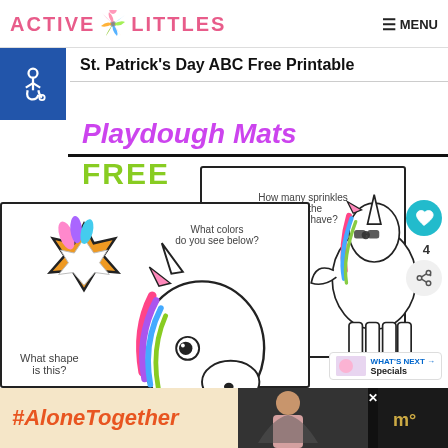ACTIVE LITTLES — MENU
St. Patrick's Day ABC Free Printable
[Figure (illustration): Accessibility wheelchair icon on dark blue background]
Playdough Mats
FREE
[Figure (illustration): Educational activity cards showing unicorn and star shape with questions: 'What colors do you see below?', 'What shape is this?', 'How many sprinkles does the Cupcake have?', 'What colors do the unicorns mane have?']
#AloneTogether
[Figure (photo): Woman in kitchen, advertisement overlay at bottom right]